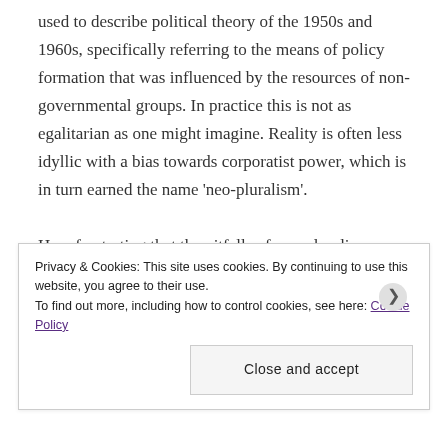used to describe political theory of the 1950s and 1960s, specifically referring to the means of policy formation that was influenced by the resources of non-governmental groups. In practice this is not as egalitarian as one might imagine. Reality is often less idyllic with a bias towards corporatist power, which is in turn earned the name 'neo-pluralism'.
How frustrating that the pitfalls of neo-pluralism are not being redressed today, half a century later. Governments who want civil society to better participate in the delivery of public services need to
Privacy & Cookies: This site uses cookies. By continuing to use this website, you agree to their use.
To find out more, including how to control cookies, see here: Cookie Policy
Close and accept